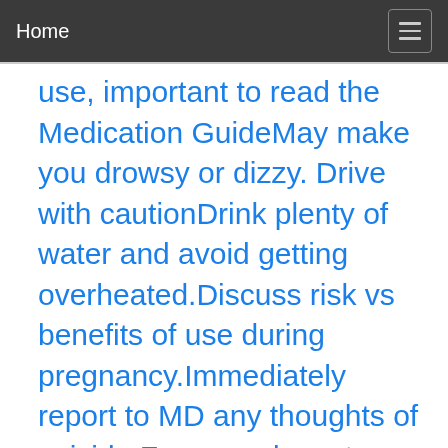Home
use, important to read the Medication GuideMay make you drowsy or dizzy. Drive with cautionDrink plenty of water and avoid getting overheated.Discuss risk vs benefits of use during pregnancy.Immediately report to MD any thoughts of suicide.For capsule, ext release 24 hr products : Swallow whole. Do not